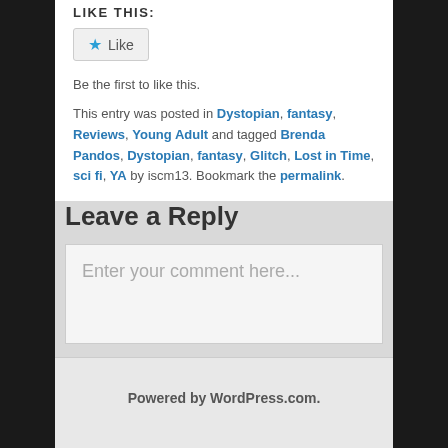LIKE THIS:
Be the first to like this.
This entry was posted in Dystopian, fantasy, Reviews, Young Adult and tagged Brenda Pandos, Dystopian, fantasy, Glitch, Lost in Time, sci fi, YA by iscm13. Bookmark the permalink.
Leave a Reply
Enter your comment here...
Powered by WordPress.com.